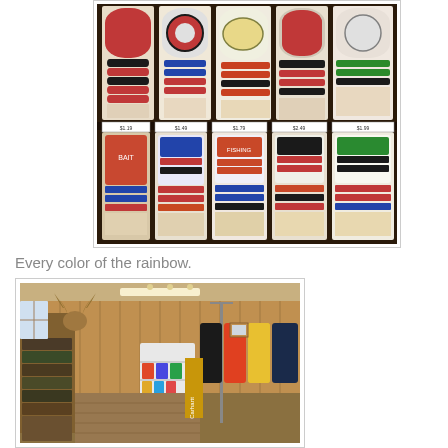[Figure (photo): Close-up photo of fishing bait/lure packages displayed on store shelves, showing multiple rows of colorful packaged fishing lures and bait products with price tags]
Every color of the rainbow.
[Figure (photo): Interior photo of a rustic sporting goods/hunting and fishing store with wood-paneled walls, clothing racks with jackets, shelves with merchandise, and a mounted deer head on the wall]